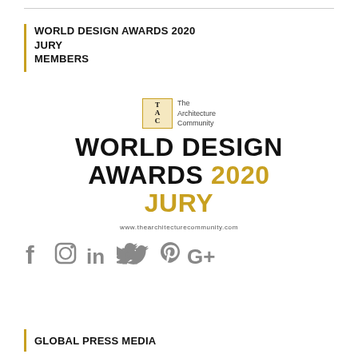WORLD DESIGN AWARDS 2020 JURY MEMBERS
[Figure (logo): The Architecture Community logo with TAC emblem and text: WORLD DESIGN AWARDS 2020 JURY, www.thearchitecturecommunity.com]
[Figure (infographic): Social media icons: Facebook, Instagram, LinkedIn, Twitter, Pinterest, Google+]
GLOBAL PRESS MEDIA